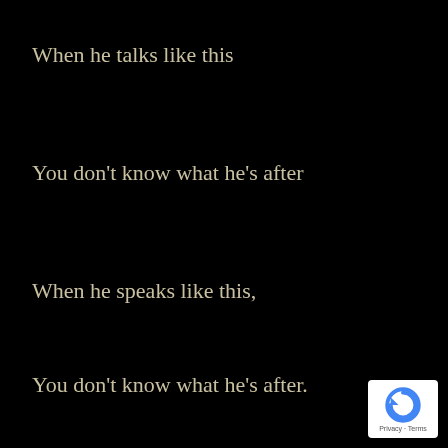When he talks like this
You don't know what he's after
When he speaks like this,
You don't know what he's after.
[Figure (logo): Google reCAPTCHA badge with Privacy and Terms links]